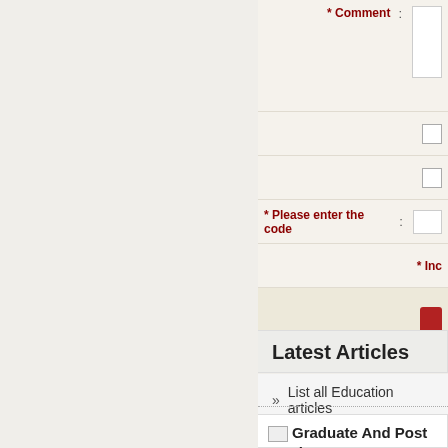[Figure (screenshot): Partial web form with Comment field label, two checkbox rows, a Please enter the code field, an indicate row, and a submit button]
Latest Articles
» List all Education articles
[Figure (screenshot): Article card with broken image icon and title: Graduate And Post Graduate Programs]